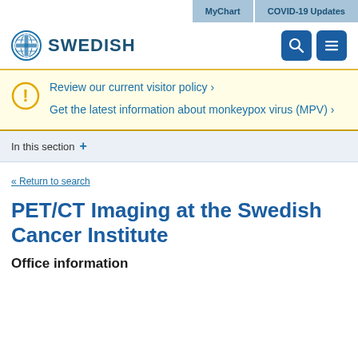MyChart | COVID-19 Updates
[Figure (logo): Swedish Health System logo with circular globe-cross emblem and 'SWEDISH' text]
Review our current visitor policy ›
Get the latest information about monkeypox virus (MPV) ›
In this section +
« Return to search
PET/CT Imaging at the Swedish Cancer Institute
Office information